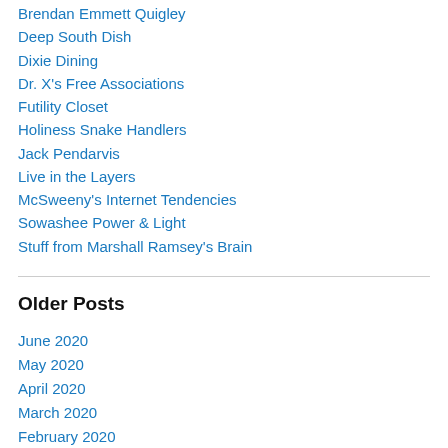Brendan Emmett Quigley
Deep South Dish
Dixie Dining
Dr. X's Free Associations
Futility Closet
Holiness Snake Handlers
Jack Pendarvis
Live in the Layers
McSweeny's Internet Tendencies
Sowashee Power & Light
Stuff from Marshall Ramsey's Brain
Older Posts
June 2020
May 2020
April 2020
March 2020
February 2020
January 2020